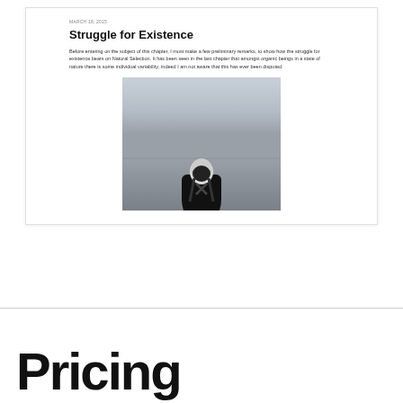MARCH 18, 2015
Struggle for Existence
Before entering on the subject of this chapter, I must make a few preliminary remarks, to show how the struggle for existence bears on Natural Selection. It has been seen in the last chapter that amongst organic beings in a state of nature there is some individual variability; indeed I am not aware that this has ever been disputed.
[Figure (photo): Black and white photo of a person in a dark hooded jacket seen from behind, standing in front of a misty, gray horizon.]
Pricing